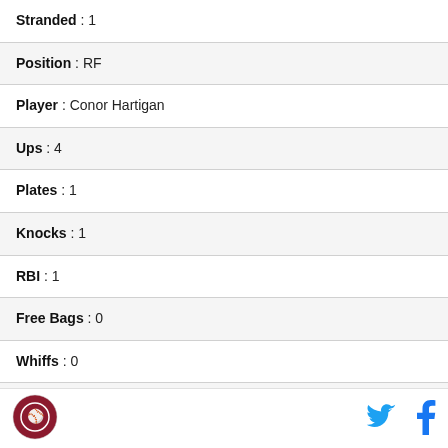| Stranded | 1 |
| Position | RF |
| Player | Conor Hartigan |
| Ups | 4 |
| Plates | 1 |
| Knocks | 1 |
| RBI | 1 |
| Free Bags | 0 |
| Whiffs | 0 |
| Stranded | 0 |
| Position | SS |
[Figure (logo): Red circular sports team logo]
[Figure (logo): Twitter bird icon in blue]
[Figure (logo): Facebook f icon in blue]